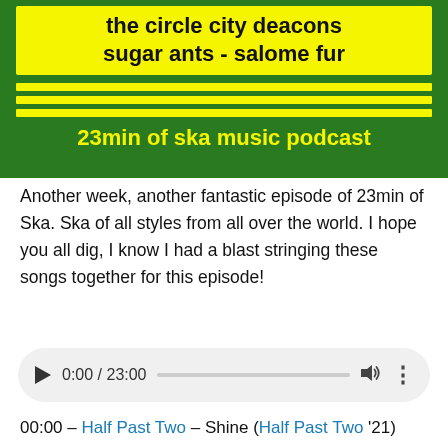[Figure (other): Podcast banner for '23min of ska music podcast' with yellow and green design, showing text: 'omnigone - panic dolls the circle city deacons sugar ants - salome fur' and yellow stripes on green background with '23min of ska music podcast' text]
Another week, another fantastic episode of 23min of Ska. Ska of all styles from all over the world. I hope you all dig, I know I had a blast stringing these songs together for this episode!
[Figure (other): Audio player widget showing 0:00 / 23:00 with play button, progress bar, volume icon, and more options icon]
00:00 – Half Past Two – Shine (Half Past Two '21)
03:26 – Tommy Tornado & the Clerks – Sunny Side Up (Sunny Side Up '21)
08:53 – OMNIGONE – Rewrite History (No Faith '19)